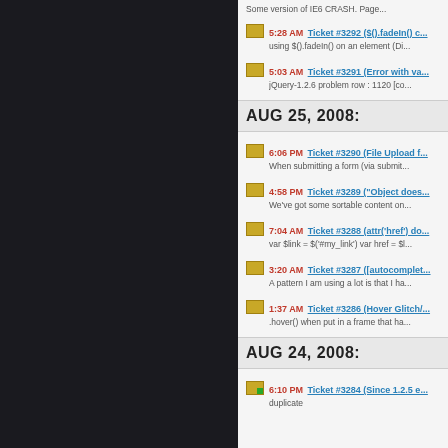Some version of IE6 CRASH. Page...
5:28 AM Ticket #3292 ($().fadeIn() c... using $().fadeIn() on an element (Di...
5:03 AM Ticket #3291 (Error with va... jQuery-1.2.6 problem row : 1120 [co...
AUG 25, 2008:
6:06 PM Ticket #3290 (File Upload f... When submitting a form (via submit...
4:58 PM Ticket #3289 ("Object does... We've got some sortable content on...
7:04 AM Ticket #3288 (attr('href') do... var $link = $('#my_link') var href = $l...
3:20 AM Ticket #3287 ([autocomplet... A pattern I am using a lot is that I ha...
1:37 AM Ticket #3286 (Hover Glitch/... .hover() when put in a frame that ha...
AUG 24, 2008:
6:10 PM Ticket #3284 (Since 1.2.5 e... duplicate